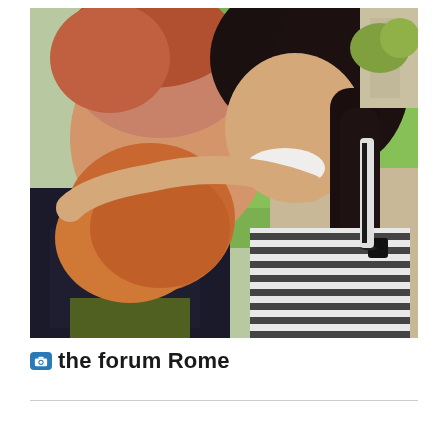[Figure (photo): A smiling couple hugging outdoors near the Roman Forum. A man with red beard and hair wearing a dark graphic t-shirt is being hugged from behind by a smiling woman with dark hair wearing a black and white striped dress. Green grass and stone path are visible in the background.]
the forum Rome